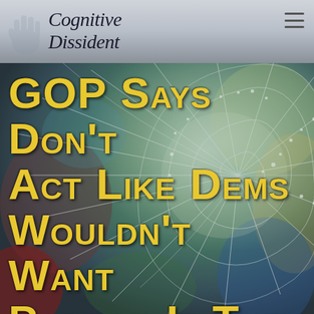Cognitive Dissident
[Figure (photo): Close-up photograph of a spider web with dewdrops, blurred colorful background (green, red, blue, purple tones)]
GOP Says Don't Act Like Dems Wouldn't Want Pardon If They Had Tried To Steal An Election